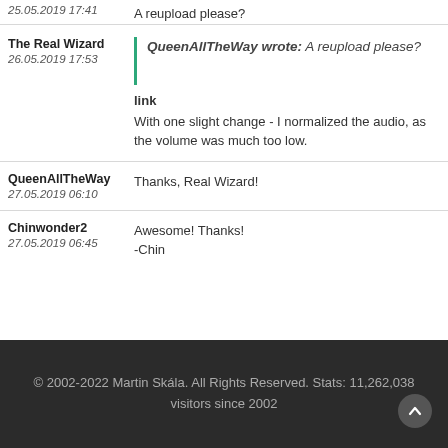25.05.2019 17:41   A reupload please?
The Real Wizard
26.05.2019 17:53
QueenAllTheWay wrote: A reupload please?
link
With one slight change - I normalized the audio, as the volume was much too low.
QueenAllTheWay
27.05.2019 06:10
Thanks, Real Wizard!
Chinwonder2
27.05.2019 06:45
Awesome! Thanks!
-Chin
© 2002-2022 Martin Skála. All Rights Reserved. Stats: 11,262,038 visitors since 2002